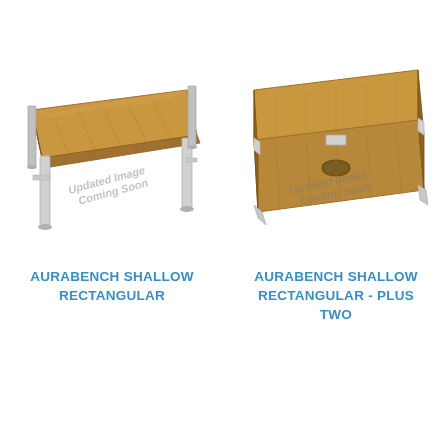[Figure (illustration): Product photo of Aurabench Shallow Rectangular desk — a wooden top desk with silver/white metal legs, shown in perspective view. Watermark text: Updated Image Coming Soon]
AURABENCH SHALLOW RECTANGULAR
[Figure (illustration): Product photo of Aurabench Shallow Rectangular Plus Two desk — a wooden top bench desk seen from above/perspective showing two joined surfaces with a cable port hole and connector, silver legs. Watermark text: Updated Image Coming Soon]
AURABENCH SHALLOW RECTANGULAR - PLUS TWO